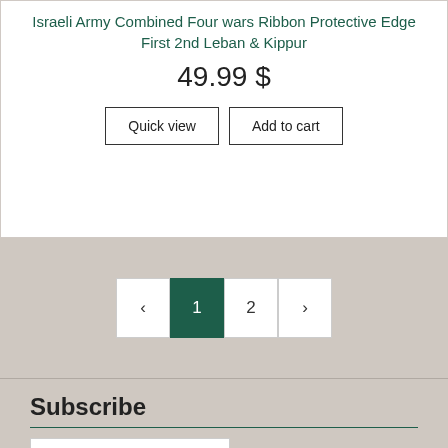Israeli Army Combined Four wars Ribbon Protective Edge First 2nd Leban & Kippur
49.99 $
Quick view | Add to cart
‹ 1 2 ›
Subscribe
Name
Email
Send
Contact